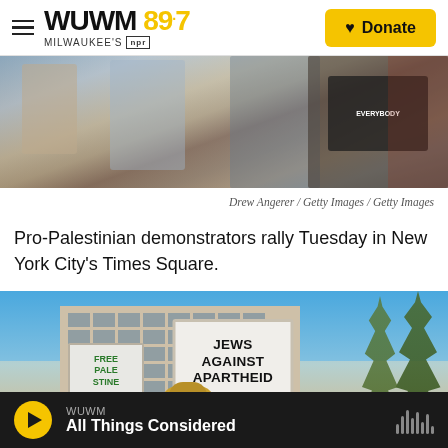WUWM 89.7 Milwaukee's NPR | Donate
[Figure (photo): Blurred photo of pro-Palestinian demonstrators at a rally, with protest signs and flags visible in the background]
Drew Angerer / Getty Images / Getty Images
Pro-Palestinian demonstrators rally Tuesday in New York City's Times Square.
[Figure (photo): Demonstrators at a protest rally, one person holding a sign reading 'JEWS AGAINST APARTHEID' and another holding a 'FREE PALESTINE' sign, with a large building and palm trees in the background]
WUWM | All Things Considered